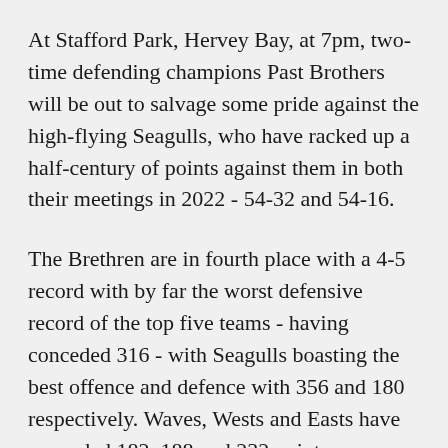At Stafford Park, Hervey Bay, at 7pm, two-time defending champions Past Brothers will be out to salvage some pride against the high-flying Seagulls, who have racked up a half-century of points against them in both their meetings in 2022 - 54-32 and 54-16.
The Brethren are in fourth place with a 4-5 record with by far the worst defensive record of the top five teams - having conceded 316 - with Seagulls boasting the best offence and defence with 356 and 180 respectively. Waves, Wests and Easts have conceded 182, 188 and 232 points respectively.